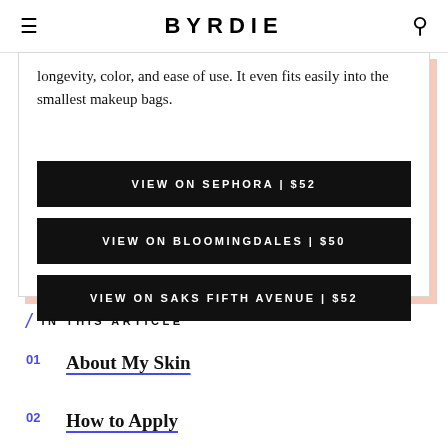BYRDIE
longevity, color, and ease of use. It even fits easily into the smallest makeup bags.
VIEW ON SEPHORA | $52
VIEW ON BLOOMINGDALES | $50
VIEW ON SAKS FIFTH AVENUE | $52
IN THIS ARTICLE
01 About My Skin
02 How to Apply